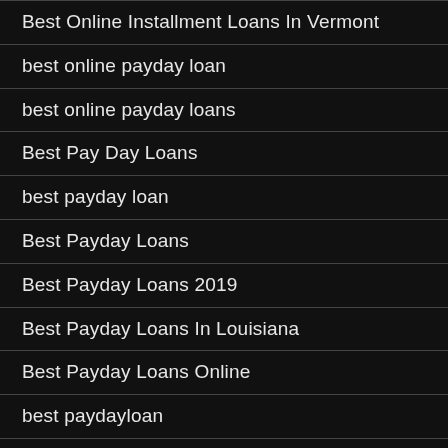Best Online Installment Loans In Vermont
best online payday loan
best online payday loans
Best Pay Day Loans
best payday loan
Best Payday Loans
Best Payday Loans 2019
Best Payday Loans In Louisiana
Best Payday Loans Online
best paydayloan
best photography websites
Best Place To Order Cbd Oil
Best Place Cbd Oil